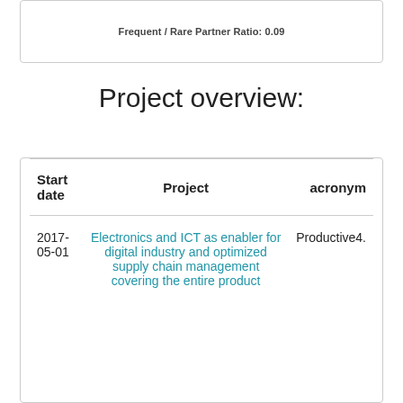Frequent / Rare Partner Ratio: 0.09
Project overview:
| Start date | Project | acronym |
| --- | --- | --- |
| 2017-05-01 | Electronics and ICT as enabler for digital industry and optimized supply chain management covering the entire product | Productive4. |